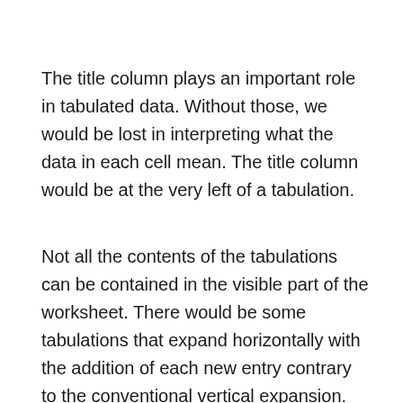The title column plays an important role in tabulated data. Without those, we would be lost in interpreting what the data in each cell mean. The title column would be at the very left of a tabulation.
Not all the contents of the tabulations can be contained in the visible part of the worksheet. There would be some tabulations that expand horizontally with the addition of each new entry contrary to the conventional vertical expansion. Zooming out always does not solve the issue, since the higher the number of